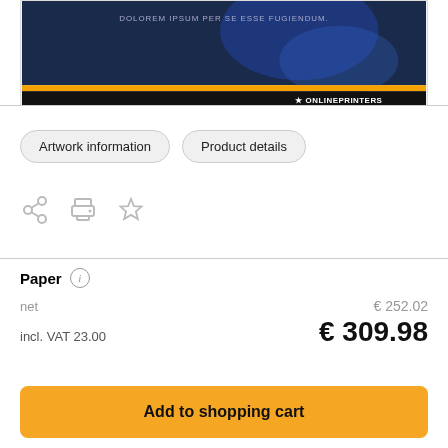[Figure (screenshot): Product preview image showing a dark blue background with orange stripe and OnlinePrinters logo at bottom right, with placeholder text 'DOLOREM IPSUM PER SE ESSE FUGIENDUM.']
Artwork information
Product details
[Figure (infographic): Three icons: share icon, print icon, star/favorites icon]
Paper
net
€ 252.02
incl. VAT 23.00
€ 309.98
Add to shopping cart